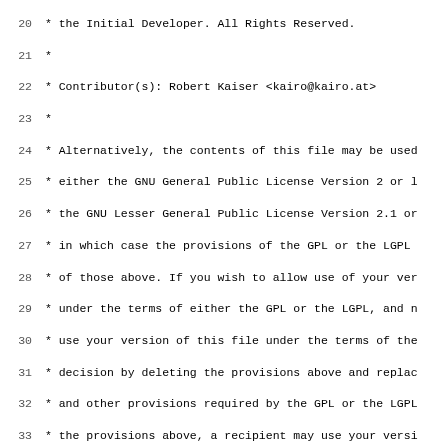Source code file showing end of MPL license block and beginning of userAgent PHP class (lines 20-51)